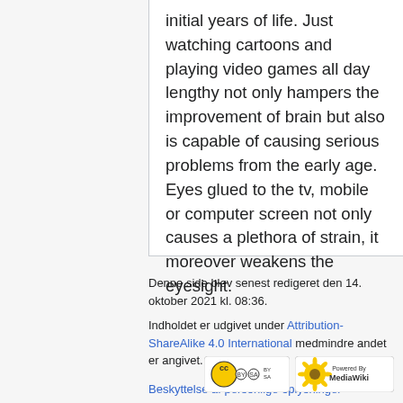initial years of life. Just watching cartoons and playing video games all day lengthy not only hampers the improvement of brain but also is capable of causing serious problems from the early age. Eyes glued to the tv, mobile or computer screen not only causes a plethora of strain, it moreover weakens the eyesight.
Denne side blev senest redigeret den 14. oktober 2021 kl. 08:36.
Indholdet er udgivet under Attribution-ShareAlike 4.0 International medmindre andet er angivet.
Beskyttelse af personlige oplysninger
Om Geowiki    Forbehold